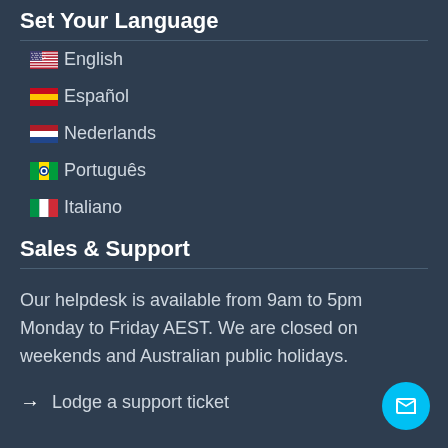Set Your Language
🇺🇸 English
🇪🇸 Español
🇳🇱 Nederlands
🇧🇷 Português
🇮🇹 Italiano
Sales & Support
Our helpdesk is available from 9am to 5pm Monday to Friday AEST. We are closed on weekends and Australian public holidays.
→  Lodge a support ticket